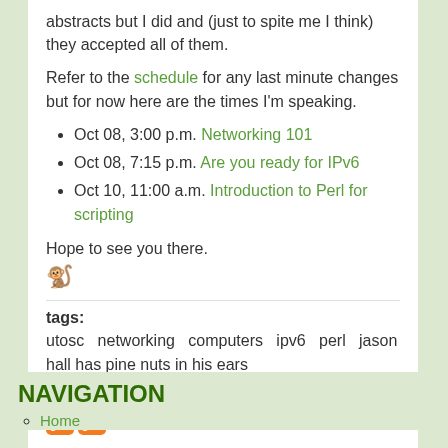abstracts but I did and (just to spite me I think) they accepted all of them.
Refer to the schedule for any last minute changes but for now here are the times I'm speaking.
Oct 08, 3:00 p.m. Networking 101
Oct 08, 7:15 p.m. Are you ready for IPv6
Oct 10, 11:00 a.m. Introduction to Perl for scripting
Hope to see you there.
tags:
utosc  networking  computers  ipv6  perl  jason hall has pine nuts in his ears
Read more
[Figure (other): Two orange RSS feed icons]
NAVIGATION
Home